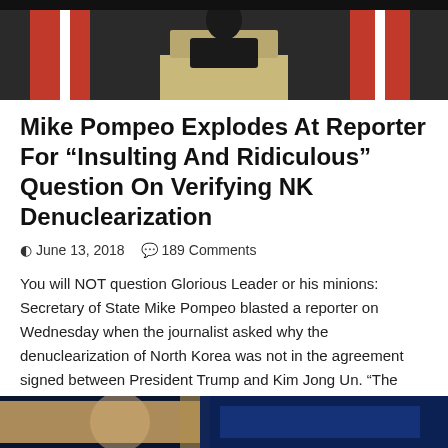[Figure (photo): Photo of Mike Pompeo at a podium with US flags in the background]
Mike Pompeo Explodes At Reporter For “Insulting And Ridiculous” Question On Verifying NK Denuclearization
⊞ June 13, 2018   💬 189 Comments
You will NOT question Glorious Leader or his minions: Secretary of State Mike Pompeo blasted a reporter on Wednesday when the journalist asked why the denuclearization of North Korea was not in the agreement signed between President Trump and Kim Jong Un. “The president said it will be verified,” the reporter asked Pompeo in South Korea, to which Pompeo said. …
Read More »
[Figure (photo): Partial photo at bottom of page, showing hands and blue background]